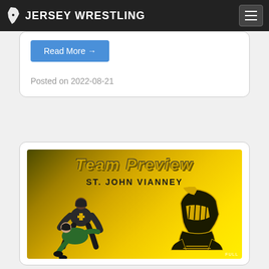JERSEY WRESTLING
Read More →
Posted on 2022-08-21
[Figure (photo): Team Preview graphic for St. John Vianney wrestling, with yellow gradient background, two wrestlers grappling in the center-left, a knight mascot logo on the right, and text 'Team Preview' and 'St. John Vianney' overlaid.]